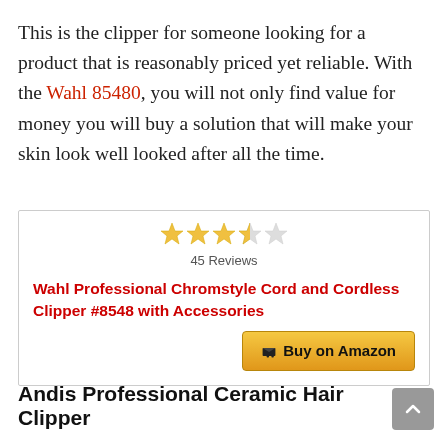This is the clipper for someone looking for a product that is reasonably priced yet reliable. With the Wahl 85480, you will not only find value for money you will buy a solution that will make your skin look well looked after all the time.
[Figure (other): Product info box with 3.5-star rating (45 Reviews), product title 'Wahl Professional Chromstyle Cord and Cordless Clipper #8548 with Accessories' in red bold text, and a 'Buy on Amazon' button]
Andis Professional Ceramic Hair Clipper